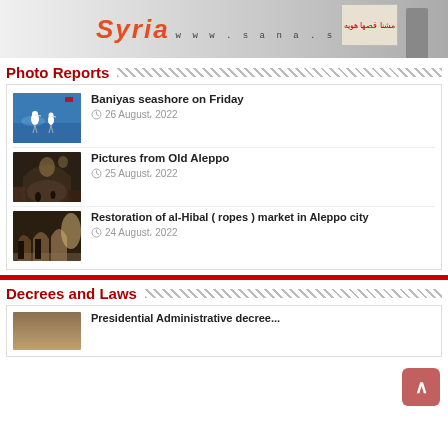[Figure (screenshot): SANA news website banner with orange italic 'Syria' text, www.sana.sy URL, Arabic text, and background photo of person holding sign]
Photo Reports
[Figure (photo): Baniyas seashore photo showing white birds (egrets) on blue water]
Baniyas seashore on Friday
26 August, 2022
[Figure (photo): Old Aleppo covered market bazaar with arched stone ceiling]
Pictures from Old Aleppo
25 August, 2022
[Figure (photo): Restoration of al-Hibal market in Aleppo city showing arched corridor]
Restoration of al-Hibal ( ropes ) market in Aleppo city
24 August, 2022
Decrees and Laws
[Figure (photo): Partially visible photo for Decrees and Laws section]
Presidential Administrative decree...